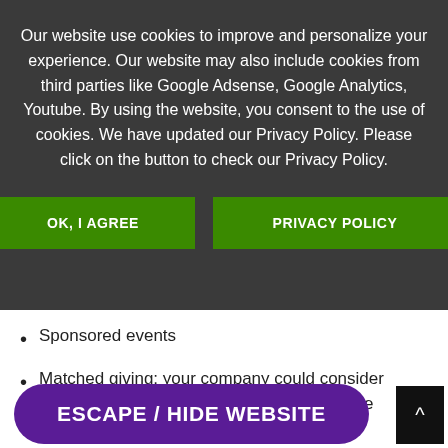Our website use cookies to improve and personalize your experience. Our website may also include cookies from third parties like Google Adsense, Google Analytics, Youtube. By using the website, you consent to the use of cookies. We have updated our Privacy Policy. Please click on the button to check our Privacy Policy.
OK, I AGREE
PRIVACY POLICY
Sponsored events
Matched giving: your company could consider matching what your team raise to double the financial total
ESCAPE / HIDE WEBSITE